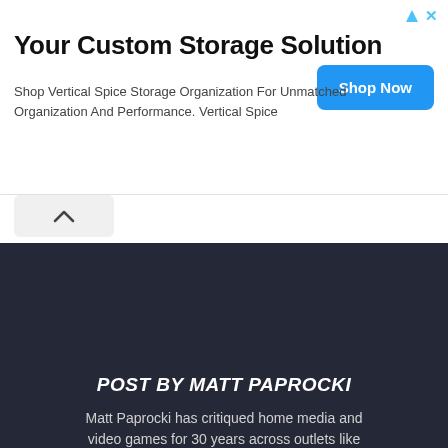[Figure (illustration): Advertisement banner for Vertical Spice Storage with blue triangle and X icons, title 'Your Custom Storage Solution', body text about Vertical Spice, and a blue 'Shop Now' button]
[Figure (illustration): Collapse/toggle button bar with an upward chevron arrow button]
[Figure (illustration): Dark background section with a cartoon 3D avatar illustration of a man in a black t-shirt and teal cap holding a small blue figure, and a blue circular scroll-up button]
POST BY MATT PAPROCKI
Matt Paprocki has critiqued home media and video games for 30 years across outlets like